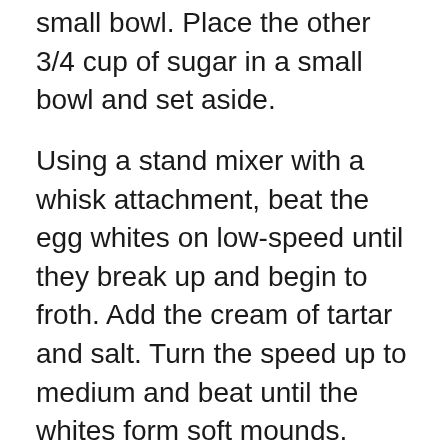small bowl.  Place the other 3/4 cup of sugar in a small bowl and set aside.
Using a stand mixer with a whisk attachment, beat the egg whites on low-speed until they break up and begin to froth.  Add the cream of tartar and salt.  Turn the speed up to medium and beat until the whites form soft mounds.  Beat in remaining 3/4 cup sugar, just 1 tablespoon at a time, until all the sugar is added and the whites form soft peaks and are shiny.  Next add vanilla and lemon juice and beat until just combined.
Turn off the mixer and sift third of the flour/sugar mixture over the whites.  Using a rubber spatula, gently fold them in.  Sift the remaining flour/sugar mixture of the whites and gently fold.  Scrape the batter into your pan.  Smooth the top with a spatula.  Gently bang the pan on the counter a